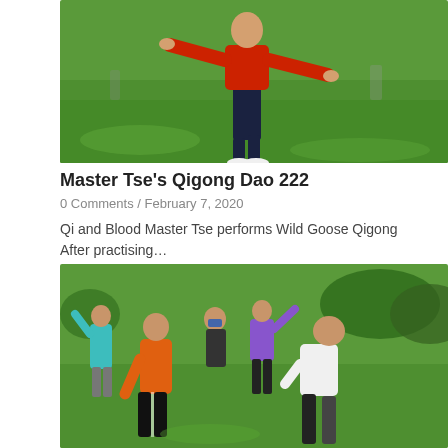[Figure (photo): A person in a red shirt and dark navy trousers performing Wild Goose Qigong on a green grass field, arms outstretched, wearing white shoes. Other people visible in the background.]
Master Tse’s Qigong Dao 222
0 Comments / February 7, 2020
Qi and Blood Master Tse performs Wild Goose Qigong After practising…
[Figure (photo): A group of people practising Qigong on a green grass field outdoors. In the foreground, a person in an orange shirt bends forward, and another person in a white shirt bends forward. In the background, participants in teal, blue, and purple shirts also practice. Trees and bushes are visible in the background.]